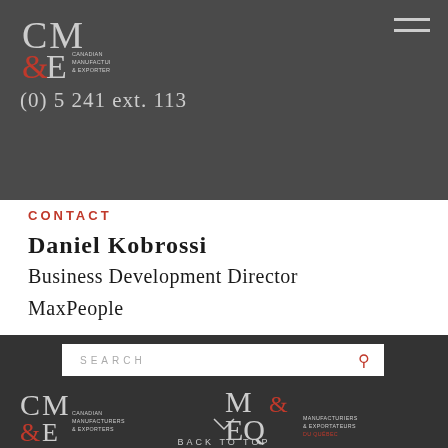[Figure (logo): CM&E Canadian Manufacturers & Exporters logo top left on dark grey header]
[Figure (other): Hamburger menu icon top right]
(0) 5 241 ext. 113
CONTACT
Daniel Kobrossi
Business Development Director
MaxPeople
[Figure (other): Search bar with SEARCH placeholder and red magnifying glass icon]
[Figure (logo): CM&E Canadian Manufacturers & Exporters logo bottom left on dark footer]
[Figure (logo): M&EQ Manufacturiers & Exportateurs du Quebec logo bottom right on dark footer]
BACK TO TOP